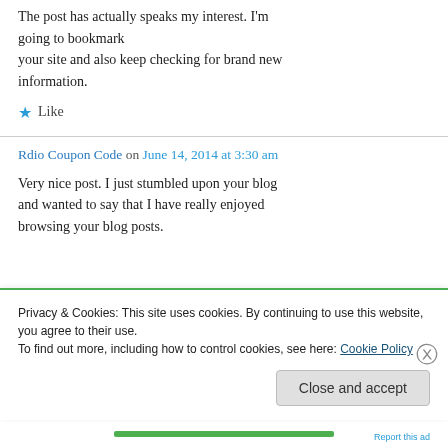The post has actually speaks my interest. I'm going to bookmark your site and also keep checking for brand new information.
★ Like
Rdio Coupon Code on June 14, 2014 at 3:30 am
Very nice post. I just stumbled upon your blog and wanted to say that I have really enjoyed browsing your blog posts.
Privacy & Cookies: This site uses cookies. By continuing to use this website, you agree to their use. To find out more, including how to control cookies, see here: Cookie Policy
Close and accept